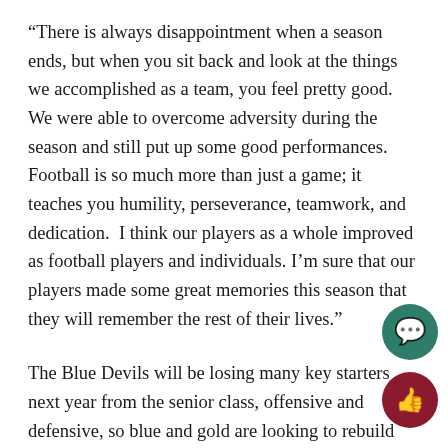“There is always disappointment when a season ends, but when you sit back and look at the things we accomplished as a team, you feel pretty good. We were able to overcome adversity during the season and still put up some good performances.  Football is so much more than just a game; it teaches you humility, perseverance, teamwork, and dedication.  I think our players as a whole improved as football players and individuals. I’m sure that our players made some great memories this season that they will remember the rest of their lives.”
The Blue Devils will be losing many key starters next year from the senior class, offensive and defensive, so blue and gold are looking to rebuild around some new faces.
“Our senior class was a very good one; we had a lot of guys who were two and three year starters and played a